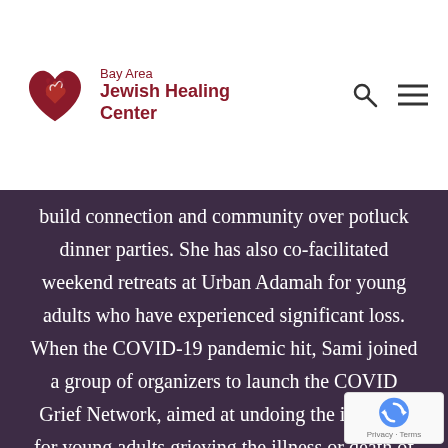Bay Area Jewish Healing Center
build connection and community over potluck dinner parties. She has also co-facilitated weekend retreats at Urban Adamah for young adults who have experienced significant loss. When the COVID-19 pandemic hit, Sami joined a group of organizers to launch the COVID Grief Network, aimed at undoing the isolation for young adults grieving the illness or death of someone close to